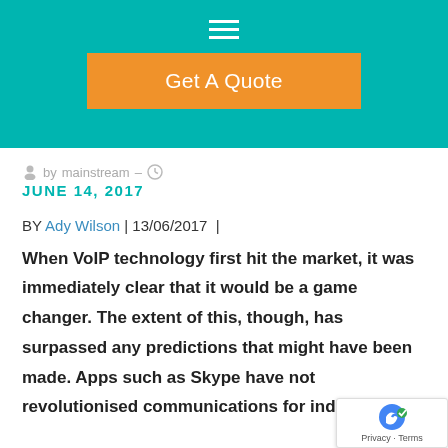[Figure (other): Teal/turquoise header bar with hamburger menu icon (three white horizontal lines) and an orange 'Get A Quote' button]
by mainstream – JUNE 14, 2017
BY Ady Wilson | 13/06/2017 |
When VoIP technology first hit the market, it was immediately clear that it would be a game changer. The extent of this, though, has surpassed any predictions that might have been made. Apps such as Skype have not revolutionised communications for individ